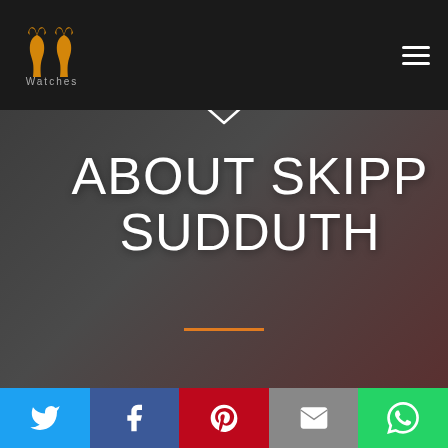[Figure (logo): PP Watches logo - two stylized horse head / tuning fork shapes in gold/orange on dark background with 'Watches' text below]
ABOUT SKIPP SUDDUTH
[Figure (infographic): Social sharing bar with Twitter, Facebook, Pinterest, Email, and WhatsApp icons]